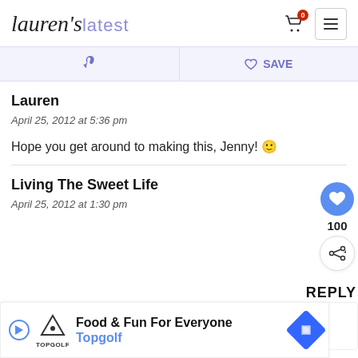lauren's latest
Pinterest | SAVE
Lauren
April 25, 2012 at 5:36 pm
Hope you get around to making this, Jenny! 🙂
Living The Sweet Life
April 25, 2012 at 1:30 pm
[Figure (screenshot): Ad banner for Topgolf: Food & Fun For Everyone]
WHAT'S NEXT → Camping Mac and Cheese